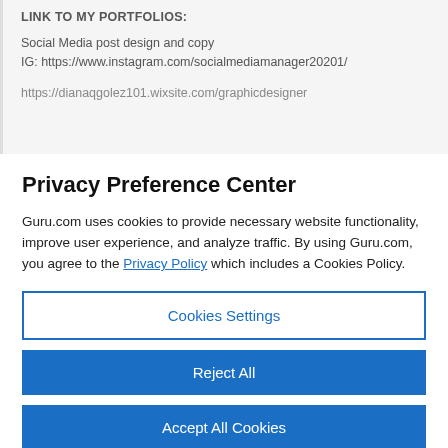LINK TO MY PORTFOLIOS:
Social Media post design and copy
IG: https://www.instagram.com/socialmediamanager20201/
https://dianaqgolez101.wixsite.com/graphicdesigner
Privacy Preference Center
Guru.com uses cookies to provide necessary website functionality, improve user experience, and analyze traffic. By using Guru.com, you agree to the Privacy Policy which includes a Cookies Policy.
Cookies Settings
Reject All
Accept All Cookies